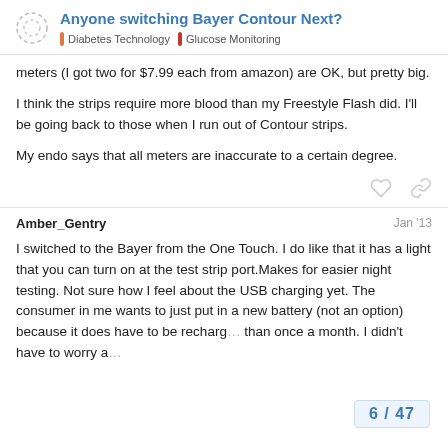Anyone switching Bayer Contour Next? | Diabetes Technology | Glucose Monitoring
meters (I got two for $7.99 each from amazon) are OK, but pretty big.
I think the strips require more blood than my Freestyle Flash did. I'll be going back to those when I run out of Contour strips.
My endo says that all meters are inaccurate to a certain degree.
Amber_Gentry   Jan '13
I switched to the Bayer from the One Touch. I do like that it has a light that you can turn on at the test strip port.Makes for easier night testing. Not sure how I feel about the USB charging yet. The consumer in me wants to just put in a new battery (not an option) because it does have to be recharg... than once a month. I didn't have to worry a...
6 / 47